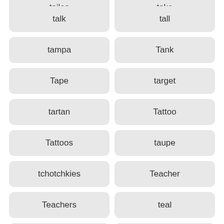tailes
take
talk
tall
tampa
Tank
Tape
target
tartan
Tattoo
Tattoos
taupe
tchotchkies
Teacher
Teachers
teal
Teardrop
tech
techniques
technology